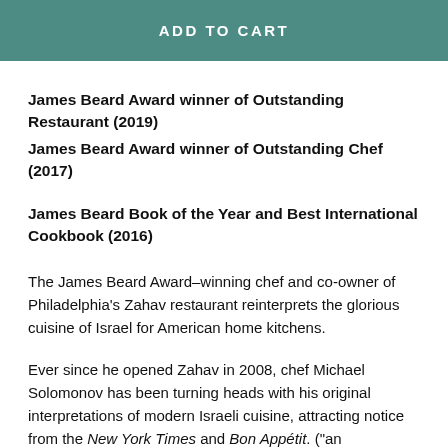ADD TO CART
James Beard Award winner of Outstanding Restaurant (2019)
James Beard Award winner of Outstanding Chef (2017)
James Beard Book of the Year and Best International Cookbook (2016)
The James Beard Award–winning chef and co-owner of Philadelphia's Zahav restaurant reinterprets the glorious cuisine of Israel for American home kitchens.
Ever since he opened Zahav in 2008, chef Michael Solomonov has been turning heads with his original interpretations of modern Israeli cuisine, attracting notice from the New York Times and Bon Appétit. ("an